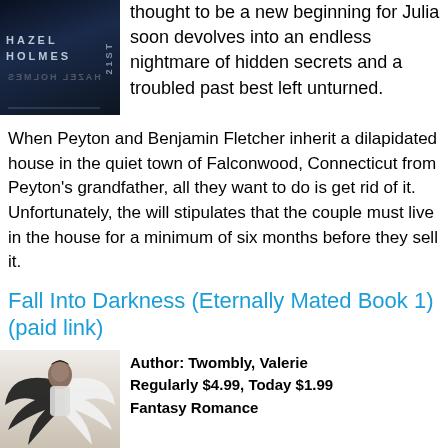[Figure (illustration): Book cover with dark blue/black background showing author name HAZEL HOLMES in silver text, mirrored text below, and spine text reading 21ST]
thought to be a new beginning for Julia soon devolves into an endless nightmare of hidden secrets and a troubled past best left unturned.
When Peyton and Benjamin Fletcher inherit a dilapidated house in the quiet town of Falconwood, Connecticut from Peyton's grandfather, all they want to do is get rid of it. Unfortunately, the will stipulates that the couple must live in the house for a minimum of six months before they sell it.
Fall Into Darkness (Eternally Mated Book 1) (paid link)
[Figure (photo): Book cover showing a shirtless man with dark wings against a white/light background]
Author: Twombly, Valerie
Regularly $4.99, Today $1.99
Fantasy Romance
Left half-clothed and without his